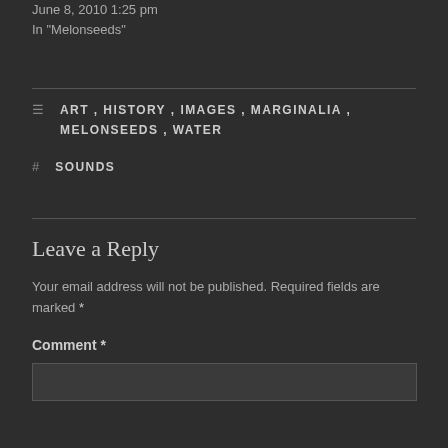June 8, 2010 1:25 pm
In "Melonseeds"
ART, HISTORY, IMAGES, MARGINALIA, MELONSEEDS, WATER
SOUNDS
Leave a Reply
Your email address will not be published. Required fields are marked *
Comment *